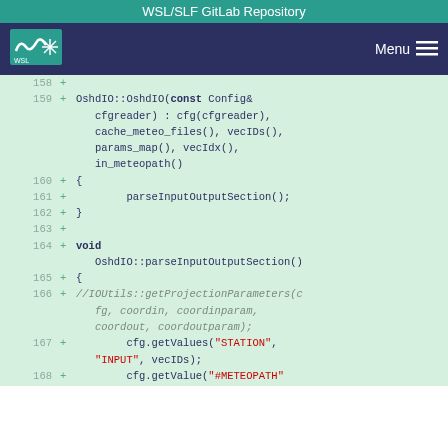WSL/SLF GitLab Repository
[Figure (logo): WSL/SLF logo with spiral and snowflake icons]
Menu ≡
158 +
159 + OshdIO::OshdIO(const Config& cfgreader) : cfg(cfgreader), cache_meteo_files(), vecIDs(), params_map(), vecIdx(), in_meteopath()
160 + {
161 +     parseInputOutputSection();
162 + }
163 +
164 + void OshdIO::parseInputOutputSection()
165 + {
166 +
    //IOUtils::getProjectionParameters(cfg, coordin, coordinparam, coordout, coordoutparam);
167 +     cfg.getValues("STATION", "INPUT", vecIDs);
168 + cfg.getValue("#METEOPATH"